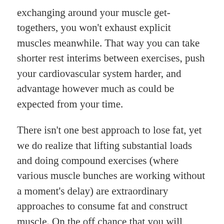exchanging around your muscle get-togethers, you won't exhaust explicit muscles meanwhile. That way you can take shorter rest interims between exercises, push your cardiovascular system harder, and advantage however much as could be expected from your time.
There isn't one best approach to lose fat, yet we do realize that lifting substantial loads and doing compound exercises (where various muscle bunches are working without a moment's delay) are extraordinary approaches to consume fat and construct muscle. On the off chance that you will probably lean out and dispose of obstinate fat, actualize these 15 exercises into your quality sessions. The following are the absolute Best Fat Burning Exercises.
Lunges Burpees